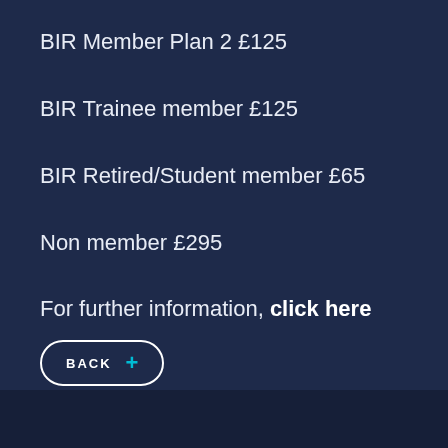BIR Member Plan 2 £125
BIR Trainee member £125
BIR Retired/Student member £65
Non member £295
For further information, click here
[Figure (other): BACK button with plus icon, white rounded rectangle border on dark navy background]